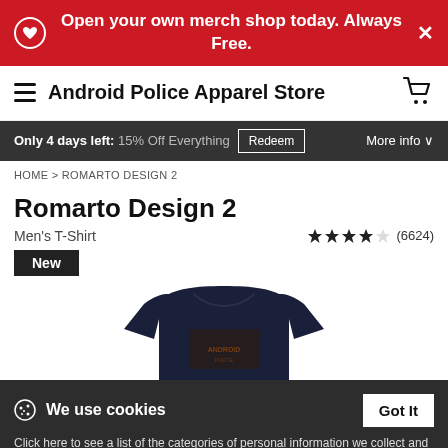Open your own merch shop today. Always Free.
Android Police Apparel Store
Only 4 days left: 15% Off Everything  Redeem  More info
HOME > ROMARTO DESIGN 2
Romarto Design 2
Men's T-Shirt
★★★★½ (6624)
New
[Figure (photo): Navy blue men's t-shirt with a graphic design on the front]
We use cookies
Click here to see a list of the categories of personal information we collect and what we use them for ("Notice at Collection").
Privacy Policy
Do Not Sell My Personal Information
By using this website, I agree to the Terms and Conditions